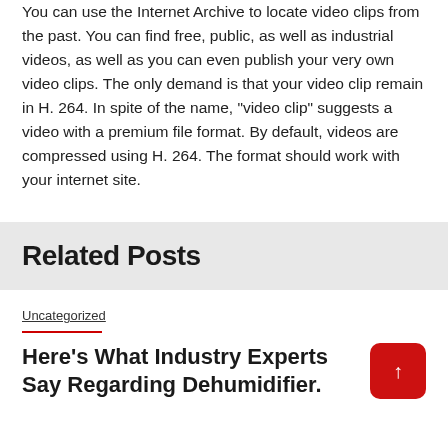You can use the Internet Archive to locate video clips from the past. You can find free, public, as well as industrial videos, as well as you can even publish your very own video clips. The only demand is that your video clip remain in H. 264. In spite of the name, "video clip" suggests a video with a premium file format. By default, videos are compressed using H. 264. The format should work with your internet site.
Related Posts
Uncategorized
Here's What Industry Experts Say Regarding Dehumidifier.